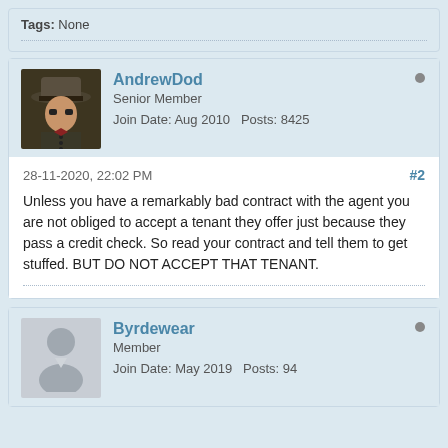Tags: None
AndrewDod
Senior Member
Join Date: Aug 2010   Posts: 8425
28-11-2020, 22:02 PM
#2
Unless you have a remarkably bad contract with the agent you are not obliged to accept a tenant they offer just because they pass a credit check. So read your contract and tell them to get stuffed. BUT DO NOT ACCEPT THAT TENANT.
Byrdewear
Member
Join Date: May 2019   Posts: 94